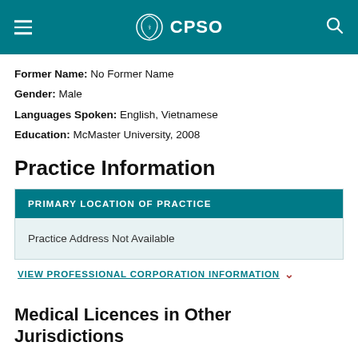CPSO
Former Name: No Former Name
Gender: Male
Languages Spoken: English, Vietnamese
Education: McMaster University, 2008
Practice Information
| PRIMARY LOCATION OF PRACTICE |
| --- |
| Practice Address Not Available |
VIEW PROFESSIONAL CORPORATION INFORMATION
Medical Licences in Other Jurisdictions